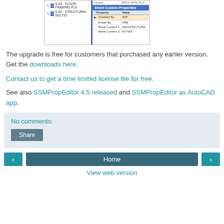[Figure (screenshot): CAD software screenshot showing sheet list with S-03 FLOOR FRAMING PLA and S-04 STRUCTURAL SECTIO entries, and a Sheet Custom Properties panel with Property/Value columns showing Checked By: JDP, Drawn By: NRB, Sheet Content 1: ARCHITECTURA, Sheet Content 2: NOTES, and Layout: ARCH SITE PLA]
The upgrade is free for customers that purchased any earlier version. Get the downloads here.
Contact us to get a time limited license file for free.
See also SSMPropEditor 4.5 released and SSMPropEditor as AutoCAD app.
No comments:
Share
Home
View web version